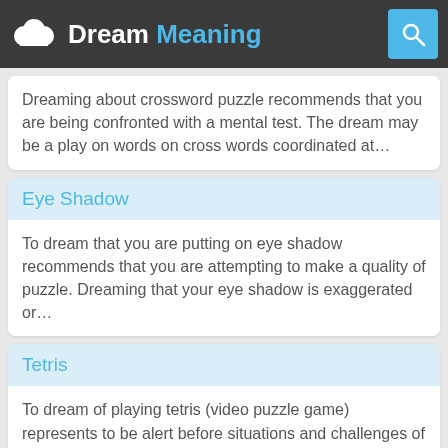Dream Meaning
Dreaming about crossword puzzle recommends that you are being confronted with a mental test. The dream may be a play on words on cross words coordinated at…
Eye Shadow
To dream that you are putting on eye shadow recommends that you are attempting to make a quality of puzzle. Dreaming that your eye shadow is exaggerated or…
Tetris
To dream of playing tetris (video puzzle game) represents to be alert before situations and challenges of complex understanding (lost of a work in the moment…
Sleeping Beauty
To dream of the sleeping beauty represents the achievement of an end that you forgot for long time. The sleeping beauty means